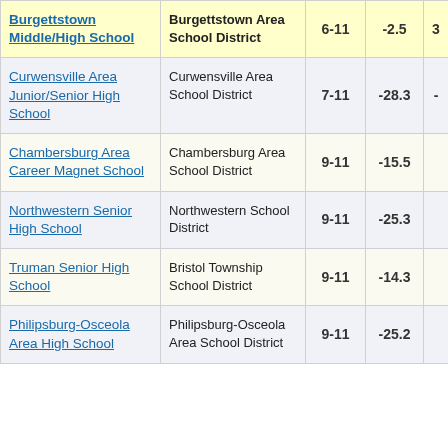| School | District | Grades | Score |  |
| --- | --- | --- | --- | --- |
| Burgettstown Middle/High School | Burgettstown Area School District | 6-11 | -2.5 | 3 |
| Curwensville Area Junior/Senior High School | Curwensville Area School District | 7-11 | -28.3 | - |
| Chambersburg Area Career Magnet School | Chambersburg Area School District | 9-11 | -15.5 |  |
| Northwestern Senior High School | Northwestern School District | 9-11 | -25.3 |  |
| Truman Senior High School | Bristol Township School District | 9-11 | -14.3 |  |
| Philipsburg-Osceola Area High School | Philipsburg-Osceola Area School District | 9-11 | -25.2 |  |